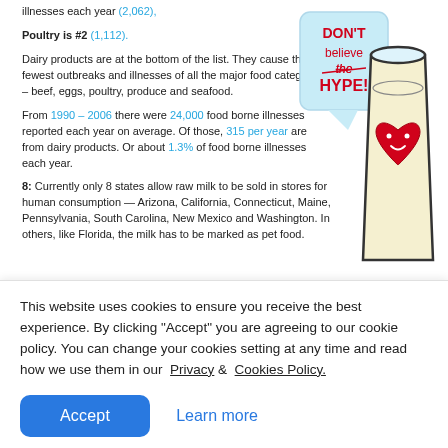illnesses each year (2,062),
Poultry is #2 (1,112).
Dairy products are at the bottom of the list. They cause the fewest outbreaks and illnesses of all the major food categories – beef, eggs, poultry, produce and seafood.
[Figure (illustration): Illustration of a glass of milk with a smiling heart, next to a speech bubble saying 'DON'T believe the HYPE!' in red text on light blue background]
From 1990 – 2006 there were 24,000 food borne illnesses reported each year on average. Of those, 315 per year are from dairy products. Or about 1.3% of food borne illnesses each year.
8: Currently only 8 states allow raw milk to be sold in stores for human consumption — Arizona, California, Connecticut, Maine, Pennsylvania, South Carolina, New Mexico and Washington. In others, like Florida, the milk has to be marked as pet food.
This website uses cookies to ensure you receive the best experience. By clicking "Accept" you are agreeing to our cookie policy. You can change your cookies setting at any time and read how we use them in our Privacy & Cookies Policy.
Accept
Learn more